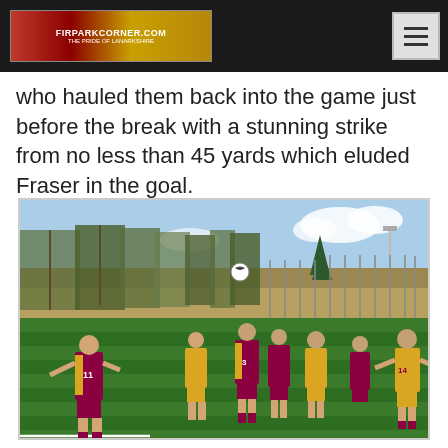FIRPARKCORNER.COM - THE PRIDE OF LANARKSHIRE
who hauled them back into the game just before the break with a stunning strike from no less than 45 yards which eluded Fraser in the goal.
[Figure (photo): Football match on a green artificial pitch. Players in maroon and yellow/gold kits. Player number 11 on the left, player number 3 in the centre, player number 14 on the right. A ball is in the air. Trees and a fence visible in the background under a blue sky.]